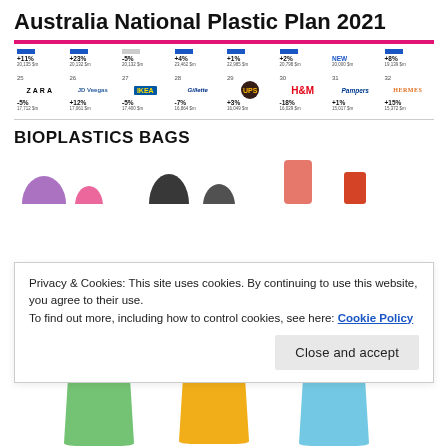Australia National Plastic Plan 2021
[Figure (infographic): Brand ranking grid showing logos with percentage changes and values: Row 1 (positions ~25-32): +11% 20,135 $m, +23% 20,132 $m, -5% 20,132 $m, +4% 23,462 $m, +1% 22,985 $m, +2% 20,798 $m, NEW 20,000 $m, +8% 19,139 $m. Row 2 (positions ~25-32): ZARA -5% 17,712 $m, JD Veegas +12% 17,061 $m, IKEA -5% 17,400 $m, Gillette -7% 16,864 $m, UPS +3% 16,049 $m, H&M -18% 16,029 $m, Pampers +1% 15,017 $m, HERMES +15% 15,372 $m]
BIOPLASTICS BAGS
[Figure (photo): Colorful bioplastic shopping bags - partially visible at top (purple, pink, black, dark, red/coral, red) and bottom (green, yellow, blue bags shown in full)]
Privacy & Cookies: This site uses cookies. By continuing to use this website, you agree to their use.
To find out more, including how to control cookies, see here: Cookie Policy
Close and accept